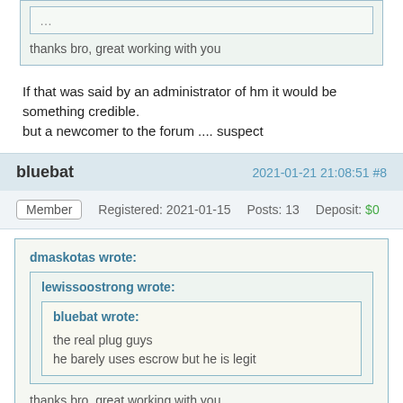thanks bro, great working with you
If that was said by an administrator of hm it would be something credible. but a newcomer to the forum .... suspect
bluebat   2021-01-21 21:08:51 #8
Member   Registered: 2021-01-15   Posts: 13   Deposit: $0
dmaskotas wrote:
lewissoostrong wrote:
bluebat wrote:
the real plug guys
he barely uses escrow but he is legit
thanks bro, great working with you